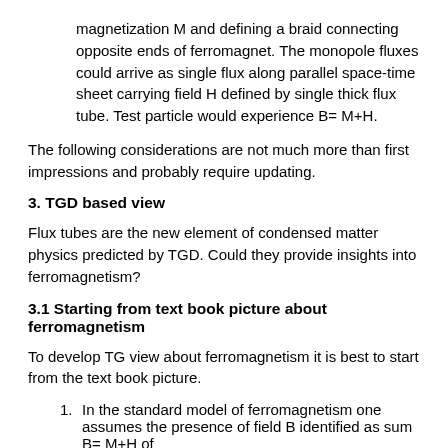magnetization M and defining a braid connecting opposite ends of ferromagnet. The monopole fluxes could arrive as single flux along parallel space-time sheet carrying field H defined by single thick flux tube. Test particle would experience B= M+H.
The following considerations are not much more than first impressions and probably require updating.
3. TGD based view
Flux tubes are the new element of condensed matter physics predicted by TGD. Could they provide insights into ferromagnetism?
3.1 Starting from text book picture about ferromagnetism
To develop TG view about ferromagnetism it is best to start from the text book picture.
In the standard model of ferromagnetism one assumes the presence of field B identified as sum B= M+H of